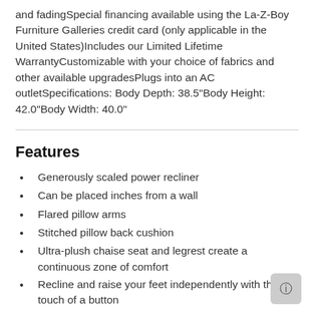and fadingSpecial financing available using the La-Z-Boy Furniture Galleries credit card (only applicable in the United States)Includes our Limited Lifetime WarrantyCustomizable with your choice of fabrics and other available upgradesPlugs into an AC outletSpecifications: Body Depth: 38.5"Body Height: 42.0"Body Width: 40.0"
Features
Generously scaled power recliner
Can be placed inches from a wall
Flared pillow arms
Stitched pillow back cushion
Ultra-plush chaise seat and legrest create a continuous zone of comfort
Recline and raise your feet independently with the touch of a button